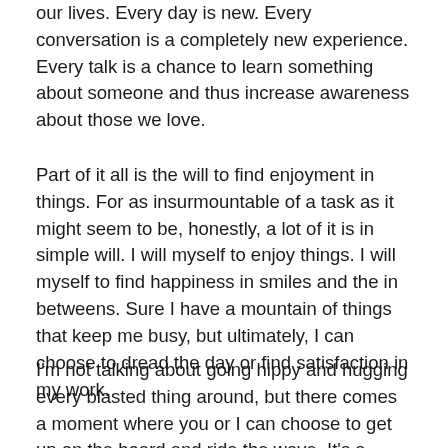our lives. Every day is new. Every conversation is a completely new experience. Every talk is a chance to learn something about someone and thus increase awareness about those we love.
Part of it all is the will to find enjoyment in things. For as insurmountable of a task as it might seem to be, honestly, a lot of it is in simple will. I will myself to enjoy things. I will myself to find happiness in smiles and the in betweens. Sure I have a mountain of things that keep me busy, but ultimately, I can choose to dread the day or find satisfaction in my work.
I'm not talking about going hippy and hugging every blasted thing around, but there comes a moment where you or I can choose to get up on the board and ride the wave. It's a joining with life, rather than trying to redirect it.